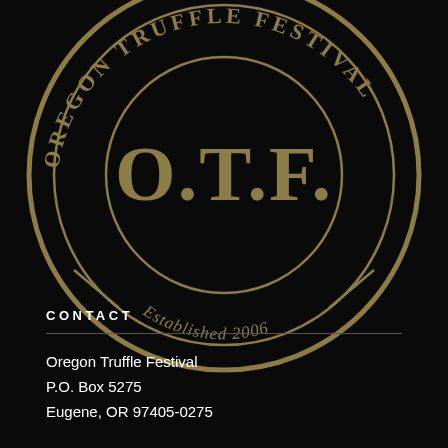[Figure (logo): Oregon Truffle Festival circular logo with O.T.F. monogram in the center and text 'Oregon Truffle Festival' arcing around the top and 'Established 2006' at the bottom, in gold/tan on black background]
CONTACT
Oregon Truffle Festival
P.O. Box 5275
Eugene, OR 97405-0275